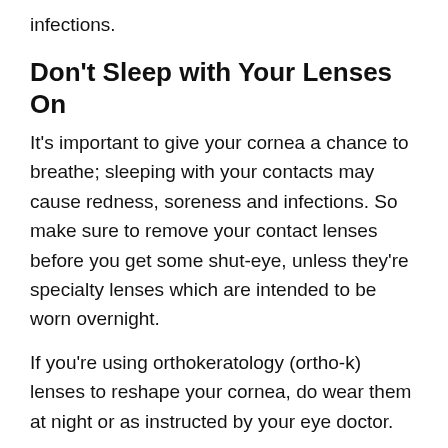infections.
Don't Sleep with Your Lenses On
It's important to give your cornea a chance to breathe; sleeping with your contacts may cause redness, soreness and infections. So make sure to remove your contact lenses before you get some shut-eye, unless they're specialty lenses which are intended to be worn overnight.
If you're using orthokeratology (ortho-k) lenses to reshape your cornea, do wear them at night or as instructed by your eye doctor.
Get That Annual Eye Exam
Don't forget to book your yearly eye exam at Texas